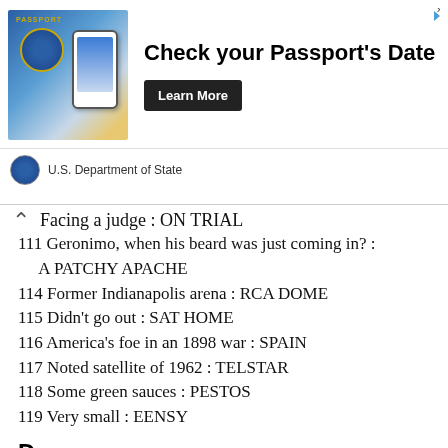[Figure (other): Advertisement banner for U.S. Department of State passport renewal service, showing a passport and smartphone with 'Check your Passport's Date' text and 'Learn More' button]
Facing a judge : ON TRIAL
111 Geronimo, when his beard was just coming in? : A PATCHY APACHE
114 Former Indianapolis arena : RCA DOME
115 Didn't go out : SAT HOME
116 America's foe in an 1898 war : SPAIN
117 Noted satellite of 1962 : TELSTAR
118 Some green sauces : PESTOS
119 Very small : EENSY
Down
1 Some book fair organizers, for short : PTAS
2 “The Good Doctor” airer : ABC TV